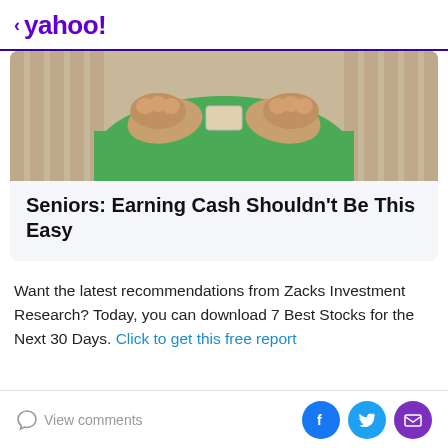< yahoo!
[Figure (photo): Close-up photo of elderly person's hands holding something, wearing a green shirt, with striped background]
Seniors: Earning Cash Shouldn't Be This Easy
Want the latest recommendations from Zacks Investment Research? Today, you can download 7 Best Stocks for the Next 30 Days. Click to get this free report
View comments